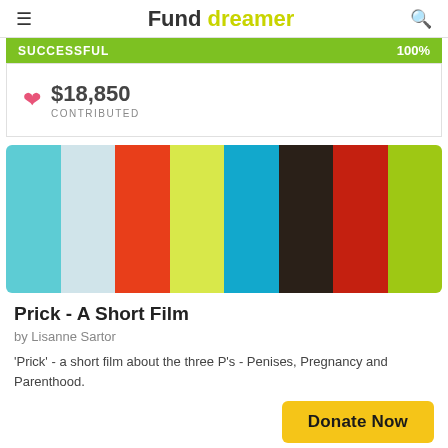Fund dreamer
SUCCESSFUL 100%
$18,850 CONTRIBUTED
[Figure (illustration): Color palette bar with 8 vertical color swatches: sky blue, light gray-blue, orange-red, yellow-green, cyan/teal, dark brown, brick red, lime green]
Prick - A Short Film
by Lisanne Sartor
'Prick' - a short film about the three P's - Penises, Pregnancy and Parenthood.
Donate Now